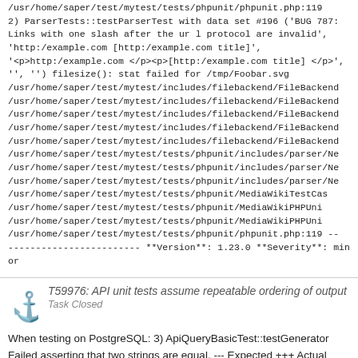/usr/home/saper/test/mytest/tests/phpunit/phpunit.php:119
2) ParserTests::testParserTest with data set #196 ('BUG 787: Links with one slash after the ur l protocol are invalid', 'http:/example.com [http:/example.com title]', '<p>http:/example.com </p><p>[http:/example.com title] </p>', '', '') filesize(): stat failed for /tmp/Foobar.svg
/usr/home/saper/test/mytest/includes/filebackend/FileBackend
/usr/home/saper/test/mytest/includes/filebackend/FileBackend
/usr/home/saper/test/mytest/includes/filebackend/FileBackend
/usr/home/saper/test/mytest/includes/filebackend/FileBackend
/usr/home/saper/test/mytest/includes/filebackend/FileBackend
/usr/home/saper/test/mytest/tests/phpunit/includes/parser/Ne
/usr/home/saper/test/mytest/tests/phpunit/includes/parser/Ne
/usr/home/saper/test/mytest/tests/phpunit/includes/parser/Ne
/usr/home/saper/test/mytest/tests/phpunit/MediaWikiTestCas
/usr/home/saper/test/mytest/tests/phpunit/MediaWikiPHPUni
/usr/home/saper/test/mytest/tests/phpunit/MediaWikiPHPUni
/usr/home/saper/test/mytest/tests/phpunit/phpunit.php:119 --
------------------------ **Version**: 1.23.0 **Severity**: minor
T59976: API unit tests assume repeatable ordering of output
Task Closed
When testing on PostgreSQL: 3) ApiQueryBasicTest::testGenerator Failed asserting that two strings are equal. --- Expected +++ Actual @@ @@ -'AQBT-All'